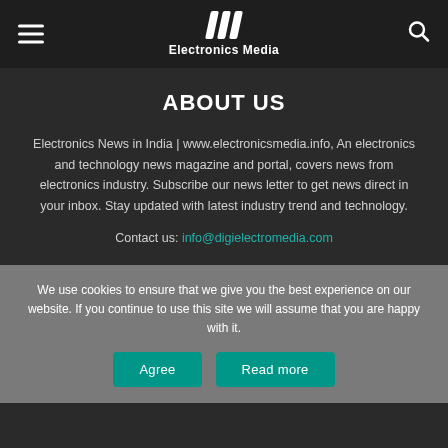Electronics Media
ABOUT US
Electronics News in India | www.electronicsmedia.info, An electronics and technology news magazine and portal, covers news from electronics industry. Subscribe our news letter to get news direct in your inbox. Stay updated with latest industry trend and technology.
Contact us: info@digielectromedia.com
We use cookies to ensure that we give you the best experience on our website. If you continue to use this site we will assume that you are happy with it.